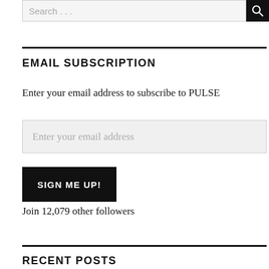Search . . .
EMAIL SUBSCRIPTION
Enter your email address to subscribe to PULSE
Enter your email address
SIGN ME UP!
Join 12,079 other followers
RECENT POSTS